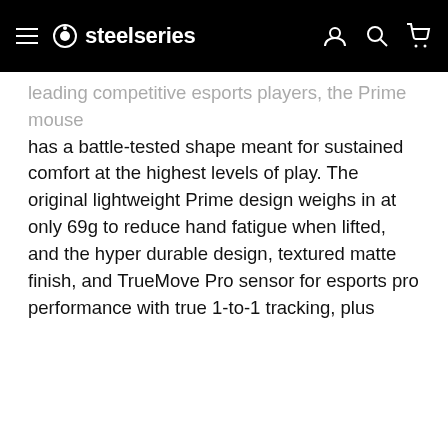steelseries — navigation bar with hamburger menu, logo, account, search, and cart icons
leading competitive esports players, the Prime mouse has a battle-tested shape meant for sustained comfort at the highest levels of play. The original lightweight Prime design weighs in at only 69g to reduce hand fatigue when lifted, and the hyper durable design, textured matte finish, and TrueMove Pro sensor for esports pro performance with true 1-to-1 tracking, plus ... during ... me ... n options. ... ed shape, ... te finish ... requires no ... ctor weighs ... provides pro esports performance with an additional sensor to
This website stores data such as cookies to enable essential site functionality, as well as marketing, personalization, and analytics.
Cookie Policy
Accept
Deny